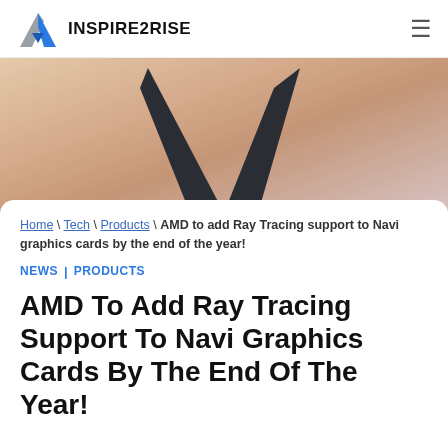INSPIRE2RISE
[Figure (illustration): AMD Radeon logo — dark chevron/arrow V shape on a sandy/peach textured background]
Home \ Tech \ Products \ AMD to add Ray Tracing support to Navi graphics cards by the end of the year!
NEWS | PRODUCTS
AMD To Add Ray Tracing Support To Navi Graphics Cards By The End Of The Year!